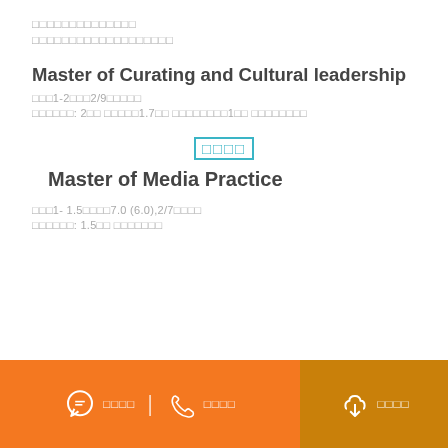□□□□□□□□□□□□□□
□□□□□□□□□□□□□□□□□□□
Master of Curating and Cultural leadership
□□□1-2□□□2/9□□□□□
□□□□□□: 2□□ □□□□□1.7□□ □□□□□□□□1□□ □□□□□□□□
□□□□
Master of Media Practice
□□□1- 1.5□□□□7.0 (6.0),2/7□□□□
□□□□□□: 1.5□□ □□□□□□□
□□□□  □□□□  □□□□